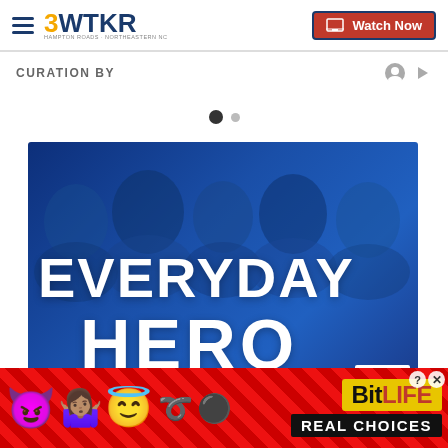3WTKR | Watch Now
CURATION BY
[Figure (screenshot): Carousel navigation dots — one filled dark circle and one smaller grey circle]
[Figure (photo): Everyday Hero promotional banner with group of smiling diverse people in blue-tinted overlay, large white text reading EVERYDAY HERO]
[Figure (infographic): BitLife Real Choices advertisement banner with emoji characters on red background]